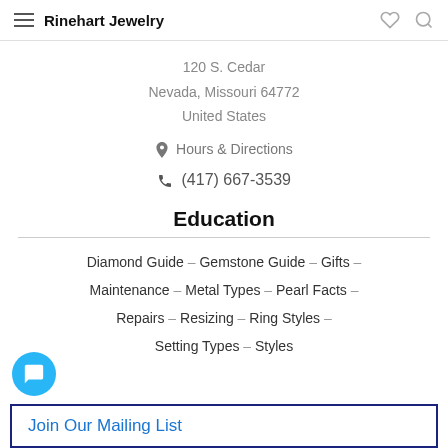Rinehart Jewelry
120 S. Cedar
Nevada, Missouri 64772
United States
Hours & Directions
(417) 667-3539
Education
Diamond Guide – Gemstone Guide – Gifts – Maintenance – Metal Types – Pearl Facts – Repairs – Resizing – Ring Styles – Setting Types – Styles
Join Our Mailing List